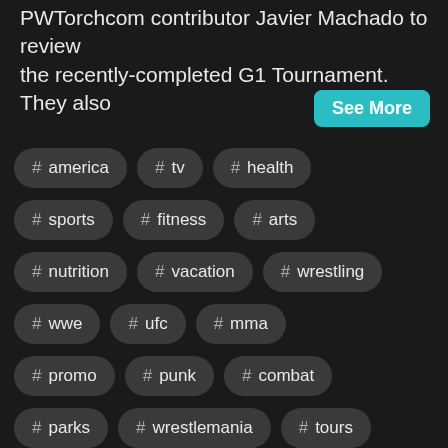PWTorchcom contributor Javier Machado to review the recently-completed G1 Tournament. They also
See More
# america
# tv
# health
# sports
# fitness
# arts
# nutrition
# vacation
# wrestling
# wwe
# ufc
# mma
# promo
# punk
# combat
# parks
# wrestlemania
# tours
# ratings
# mens
# machado
# heels
# martial
# babyface